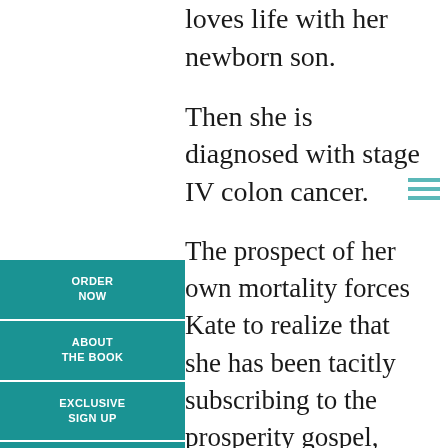loves life with her newborn son.
Then she is diagnosed with stage IV colon cancer.
The prospect of her own mortality forces Kate to realize that she has been tacitly subscribing to the prosperity gospel, living with the
ORDER NOW
ABOUT THE BOOK
EXCLUSIVE SIGN UP
ENDORSEMENTS
[Figure (other): Hamburger/menu icon with three horizontal teal lines]